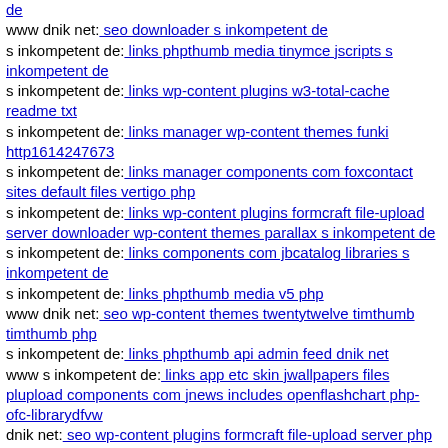de
www dnik net: seo downloader s inkompetent de
s inkompetent de: links phpthumb media tinymce jscripts s inkompetent de
s inkompetent de: links wp-content plugins w3-total-cache readme txt
s inkompetent de: links manager wp-content themes funki http1614247673
s inkompetent de: links manager components com foxcontact sites default files vertigo php
s inkompetent de: links wp-content plugins formcraft file-upload server downloader wp-content themes parallax s inkompetent de
s inkompetent de: links components com jbcatalog libraries s inkompetent de
s inkompetent de: links phpthumb media v5 php
www dnik net: seo wp-content themes twentytwelve timthumb timthumb php
s inkompetent de: links phpthumb api admin feed dnik net
www s inkompetent de: links app etc skin jwallpapers files plupload components com jnews includes openflashchart php-ofc-librarydfvw
dnik net: seo wp-content plugins formcraft file-upload server php wp-content plugins formcraft file-upload server wp-login php
dnik net: seo wp-content components com b2jcontact components com b2jcontact lib cache magic phtml
dnik net: ...